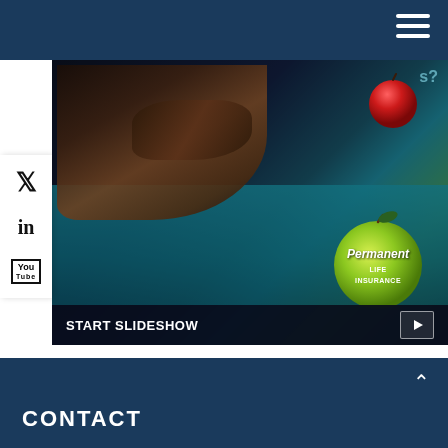[Figure (screenshot): Hand touching a tablet screen showing permanent life insurance app icons (red apple and green apple) with text 'Permanent Life Insurance']
START SLIDESHOW
Protecting Those Who Matter Most
The importance of life insurance, how it works, and how much coverage you need.
CONTACT